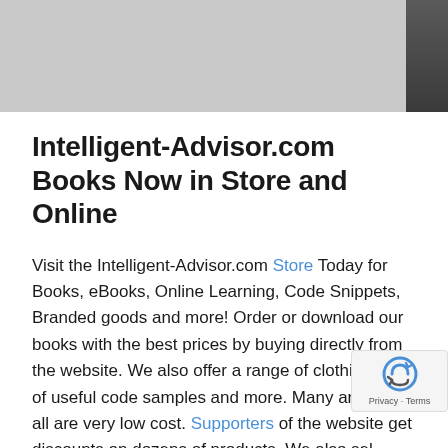[Figure (photo): Gray banner image at top of page with a dark figure on the right side]
Intelligent-Advisor.com Books Now in Store and Online
Visit the Intelligent-Advisor.com Store Today for Books, eBooks, Online Learning, Code Snippets, Branded goods and more! Order or download our books with the best prices by buying directly from the website. We also offer a range of clothing, lots of useful code samples and more. Many are free, all are very low cost. Supporters of the website get discounts on dozens of products. We also sell a range of training materials (video presentations, PDF, studio recordings) to accompany your